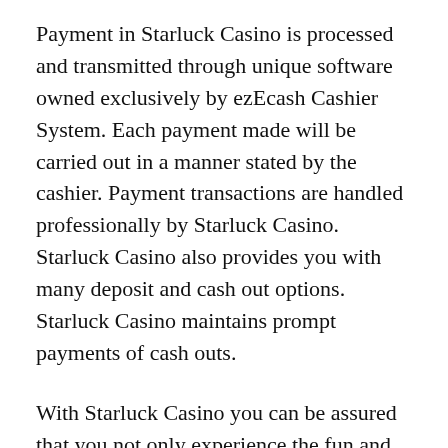Payment in Starluck Casino is processed and transmitted through unique software owned exclusively by ezEcash Cashier System. Each payment made will be carried out in a manner stated by the cashier. Payment transactions are handled professionally by Starluck Casino. Starluck Casino also provides you with many deposit and cash out options. Starluck Casino maintains prompt payments of cash outs.
With Starluck Casino you can be assured that you not only experience the fun and excitements in our games, your needs are also well taken cared of. Starluck Casino makes you enjoy your favorite casino games, respect your